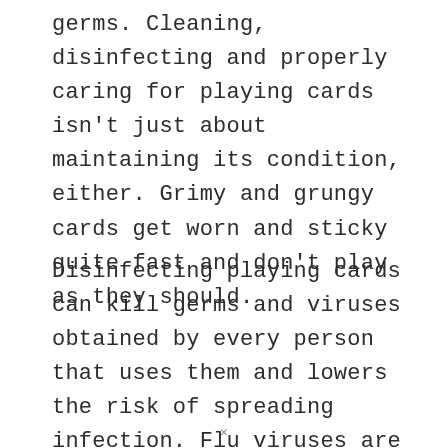germs. Cleaning, disinfecting and properly caring for playing cards isn't just about maintaining its condition, either. Grimy and grungy cards get worn and sticky quite fast and don't play as they should.
Disinfecting playing cards can kill germs and viruses obtained by every person that uses them and lowers the risk of spreading infection. Flu viruses are very common and